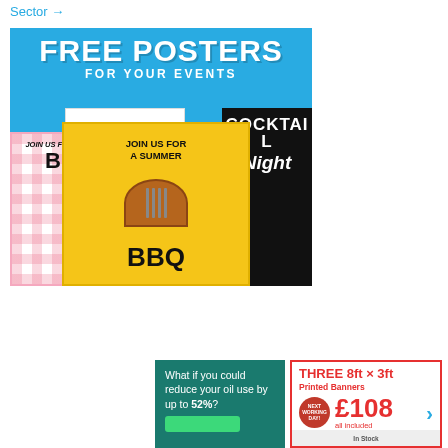Sector →
[Figure (illustration): Advertisement: FREE POSTERS FOR YOUR EVENTS. Shows a collage of event posters including a BBQ poster (JOIN US FOR A SUMMER BBQ), a cocktail night card (JOIN US FOR COCKTAIL NIGHT), a dark cocktail night poster, and a picnic/BBQ invitation.]
[Figure (illustration): Advertisement: What if you could reduce your oil use by up to 52%? Green background with teal color.]
[Figure (illustration): Advertisement: THREE 8ft x 3ft Printed Banners. NEXT WORKING DAY! £108 all included.]